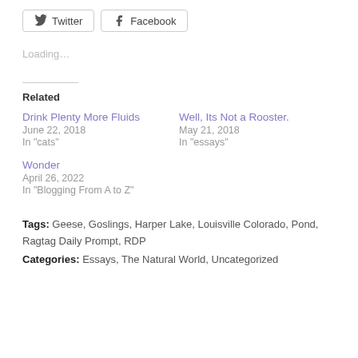[Figure (other): Social share buttons for Twitter and Facebook]
Loading…
Related
Drink Plenty More Fluids
June 22, 2018
In "cats"
Well, Its Not a Rooster.
May 21, 2018
In "essays"
Wonder
April 26, 2022
In "Blogging From A to Z"
Tags: Geese, Goslings, Harper Lake, Louisville Colorado, Pond, Ragtag Daily Prompt, RDP
Categories: Essays, The Natural World, Uncategorized